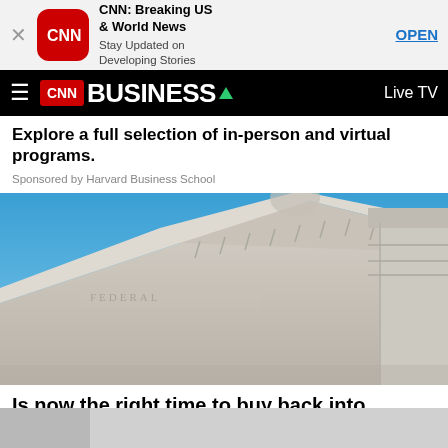[Figure (screenshot): CNN app advertisement banner with CNN logo (red rounded square), title 'CNN: Breaking US & World News', subtitle 'Stay Updated on Developing Stories', and OPEN button]
CNN BUSINESS  Live TV
Explore a full selection of in-person and virtual programs.
Sponsored by Harvard Business School
[Figure (photo): Architecture photo of the Federal Reserve building exterior with blue sky background, showing neoclassical stone columns and decorative frieze]
Is now the right time to buy back into bonds?
Sponsored by abrdn